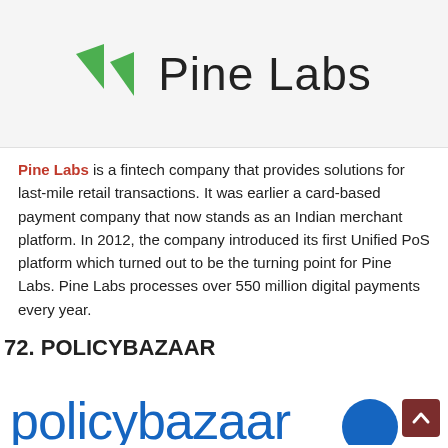[Figure (logo): Pine Labs logo with two green triangular arrow shapes on the left and 'Pine Labs' text in large black font on the right, on a light gray background]
Pine Labs is a fintech company that provides solutions for last-mile retail transactions. It was earlier a card-based payment company that now stands as an Indian merchant platform. In 2012, the company introduced its first Unified PoS platform which turned out to be the turning point for Pine Labs. Pine Labs processes over 550 million digital payments every year.
72. POLICYBAZAAR
[Figure (logo): Policybazaar logo showing partial text 'policybazaar' in blue lowercase letters with a blue circle on the right, partially visible at the bottom of the page]